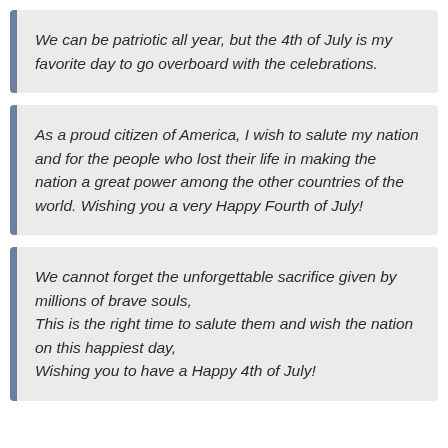We can be patriotic all year, but the 4th of July is my favorite day to go overboard with the celebrations.
As a proud citizen of America, I wish to salute my nation and for the people who lost their life in making the nation a great power among the other countries of the world. Wishing you a very Happy Fourth of July!
We cannot forget the unforgettable sacrifice given by millions of brave souls,
This is the right time to salute them and wish the nation on this happiest day,
Wishing you to have a Happy 4th of July!